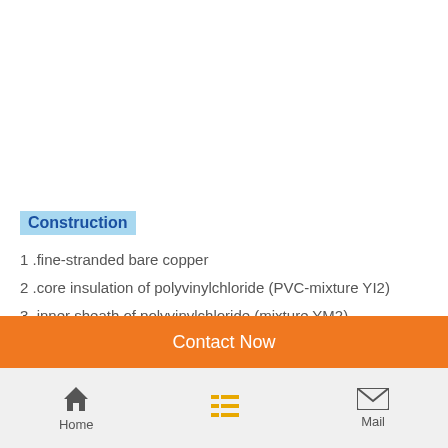Construction
1 .fine-stranded bare copper
2 .core insulation of polyvinylchloride (PVC-mixture YI2)
3 .inner sheath of polyvinylchloride (mixture YM2)
4 .braiding of tinned copper wires
5 .outer sheath of polyvinylchloride ( PVC-mixture YM2), grey
Application
Suitable for dry, damp and wet locations but not in the open-air. It is
Contact Now | Home | Mail